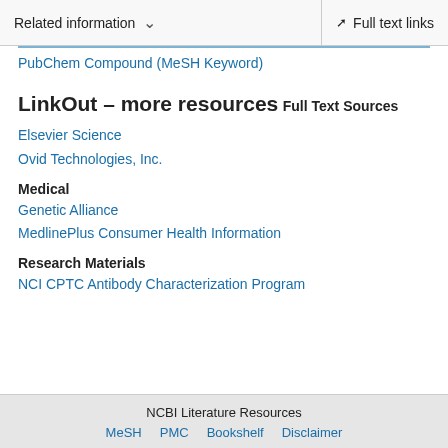Related information  ∨    Full text links
PubChem Compound (MeSH Keyword)
LinkOut – more resources
Full Text Sources
Elsevier Science
Ovid Technologies, Inc.
Medical
Genetic Alliance
MedlinePlus Consumer Health Information
Research Materials
NCI CPTC Antibody Characterization Program
NCBI Literature Resources  MeSH  PMC  Bookshelf  Disclaimer